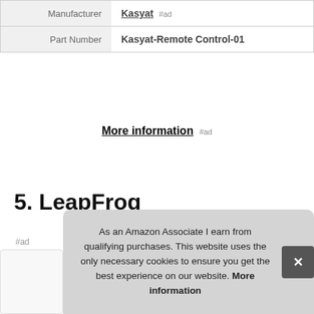|  |  |
| --- | --- |
| Manufacturer | Kasyat #ad |
| Part Number | Kasyat-Remote Control-01 |
More information #ad
5. LeapFrog
#ad
As an Amazon Associate I earn from qualifying purchases. This website uses the only necessary cookies to ensure you get the best experience on our website. More information